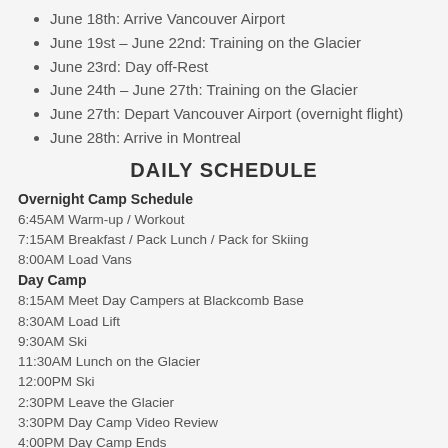June 18th: Arrive Vancouver Airport
June 19st – June 22nd: Training on the Glacier
June 23rd: Day off-Rest
June 24th – June 27th: Training on the Glacier
June 27th: Depart Vancouver Airport (overnight flight)
June 28th: Arrive in Montreal
DAILY SCHEDULE
Overnight Camp Schedule
6:45AM Warm-up / Workout
7:15AM Breakfast / Pack Lunch / Pack for Skiing
8:00AM Load Vans
Day Camp
8:15AM Meet Day Campers at Blackcomb Base
8:30AM Load Lift
9:30AM Ski
11:30AM Lunch on the Glacier
12:00PM Ski
2:30PM Leave the Glacier
3:30PM Day Camp Video Review
4:00PM Day Camp Ends